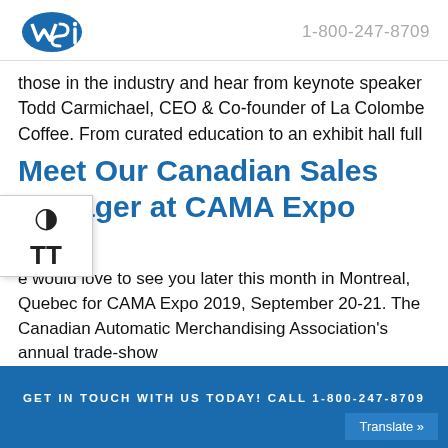1-800-247-8709
those in the industry and hear from keynote speaker Todd Carmichael, CEO & Co-founder of La Colombe Coffee. From curated education to an exhibit hall full
Meet Our Canadian Sales Manager at CAMA Expo 2019
e would love to see you later this month in Montreal, Quebec for CAMA Expo 2019, September 20-21. The Canadian Automatic Merchandising Association's annual trade-show
GET IN TOUCH WITH US TODAY! CALL 1-800-247-8709